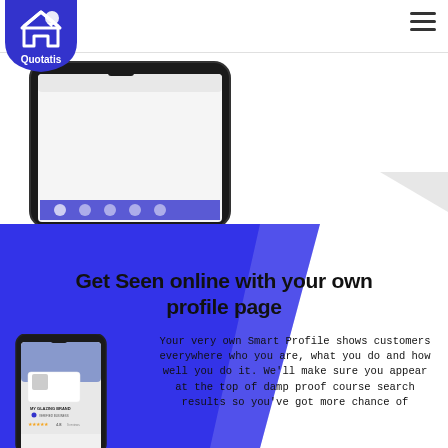[Figure (logo): Quotatis logo - house icon in blue shield with 'Quotatis' text]
[Figure (screenshot): Top portion of smartphone mockup showing a mobile app/website screenshot in dark phone frame]
[Figure (screenshot): Smartphone mockup showing Quotatis Smart Profile page for 'MY GLAZING BRAND' with star rating 4.8 and reviews, blue accent colors]
Get Seen online with your own profile page
Your very own Smart Profile shows customers everywhere who you are, what you do and how well you do it. We'll make sure you appear at the top of damp proof course search results so you've got more chance of